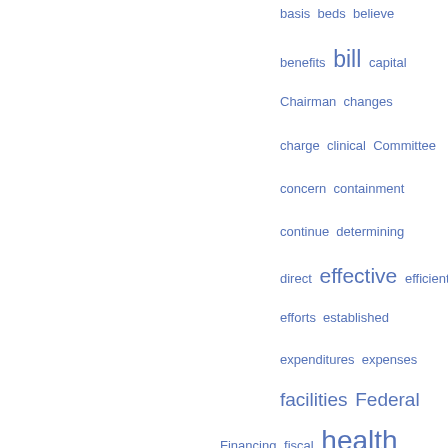[Figure (infographic): Word cloud in blue tones featuring government/health care policy terms. Largest words: 'health care', 'increase', 'effective', 'facilities', 'Federal'. Smaller words include: basis, beds, believe, benefits, bill, capital, Chairman, changes, charge, clinical, Committee, concern, containment, continue, determining, direct, efficient, efforts, established, expenditures, expenses, Financing, fiscal, hospital costs, improve, incentives, individual, industry, institutions, legislation, less, limit, major, Medicare and Medicaid, ment, million]